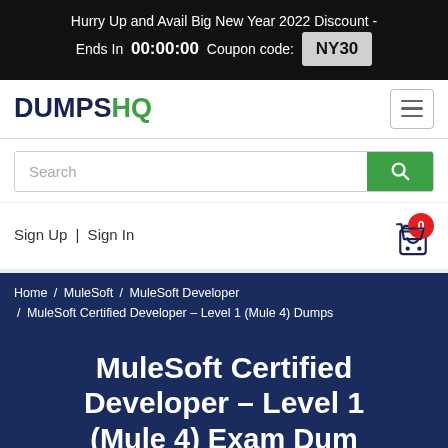Hurry Up and Avail Big New Year 2022 Discount - Ends In 00:00:00 Coupon code: NY30
[Figure (logo): DumpsHQ logo with hamburger menu button]
[Figure (screenshot): Search bar with green search button]
Sign Up | Sign In
Home / MuleSoft / MuleSoft Developer / MuleSoft Certified Developer - Level 1 (Mule 4) Dumps
MuleSoft Certified Developer - Level 1 (Mule 4) Exam Dumps